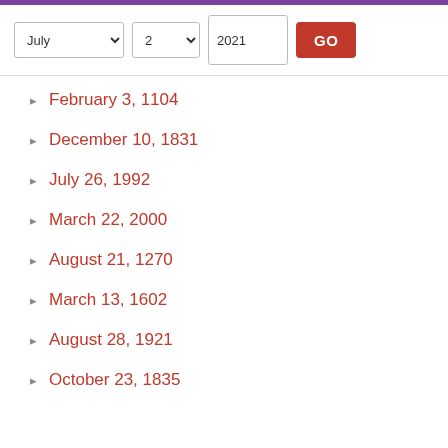[Figure (screenshot): Web UI controls: month dropdown showing 'July', day dropdown showing '2', year input showing '2021', and a red GO button]
February 3, 1104
December 10, 1831
July 26, 1992
March 22, 2000
August 21, 1270
March 13, 1602
August 28, 1921
October 23, 1835